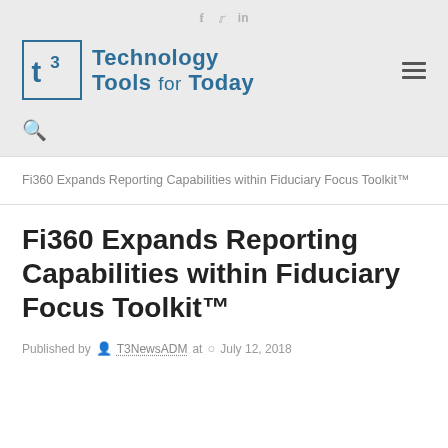[Figure (logo): Technology Tools for Today (T3) logo with t3 icon in a box and text beside it]
Fi360 Expands Reporting Capabilities within Fiduciary Focus Toolkit™
Fi360 Expands Reporting Capabilities within Fiduciary Focus Toolkit™
Published by T3NewsADM at July 12, 2018